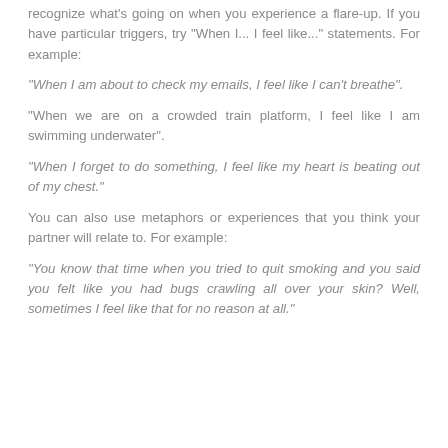recognize what's going on when you experience a flare-up. If you have particular triggers, try "When I... I feel like..." statements. For example:
"When I am about to check my emails, I feel like I can't breathe".
"When we are on a crowded train platform, I feel like I am swimming underwater".
"When I forget to do something, I feel like my heart is beating out of my chest."
You can also use metaphors or experiences that you think your partner will relate to. For example:
"You know that time when you tried to quit smoking and you said you felt like you had bugs crawling all over your skin? Well, sometimes I feel like that for no reason at all."